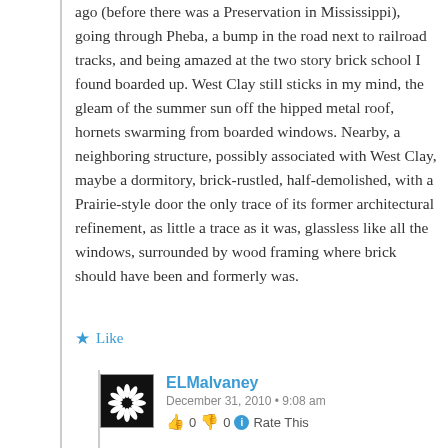ago (before there was a Preservation in Mississippi), going through Pheba, a bump in the road next to railroad tracks, and being amazed at the two story brick school I found boarded up. West Clay still sticks in my mind, the gleam of the summer sun off the hipped metal roof, hornets swarming from boarded windows. Nearby, a neighboring structure, possibly associated with West Clay, maybe a dormitory, brick-rustled, half-demolished, with a Prairie-style door the only trace of its former architectural refinement, as little a trace as it was, glassless like all the windows, surrounded by wood framing where brick should have been and formerly was.
Like
ELMalvaney
December 31, 2010 • 9:08 am
0  0  Rate This